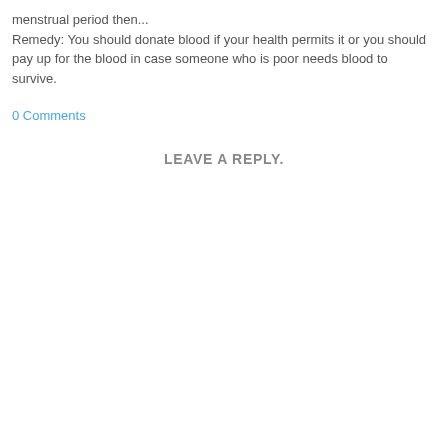menstrual period then... Remedy: You should donate blood if your health permits it or you should pay up for the blood in case someone who is poor needs blood to survive.
0 Comments
LEAVE A REPLY.